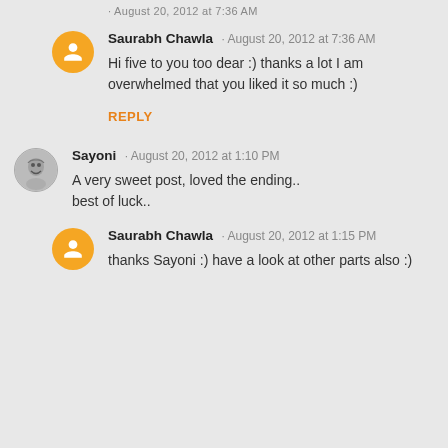· August 20, 2012 at 7:36 AM (truncated from top)
Saurabh Chawla · August 20, 2012 at 7:36 AM
Hi five to you too dear :) thanks a lot I am overwhelmed that you liked it so much :)
REPLY
Sayoni · August 20, 2012 at 1:10 PM
A very sweet post, loved the ending.. best of luck..
Saurabh Chawla · August 20, 2012 at 1:15 PM
thanks Sayoni :) have a look at other parts also :)